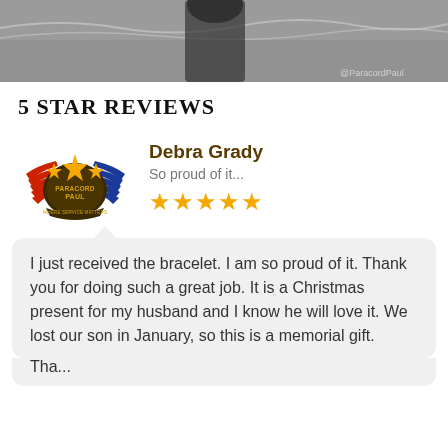[Figure (photo): Black and white photo of a person standing on a beach near ocean waves, with @ParacordPaul watermark in the lower right corner. Only the bottom portion of the image is visible.]
5 STAR REVIEWS
[Figure (logo): Paracord Paul logo featuring a shield/badge design with wings, stars in gold/orange, red and blue stripe wings, and text 'PARACORD PAUL' and 'WHERE SERVICE MATTERS']
Debra Grady
So proud of it...
★★★★★
I just received the bracelet. I am so proud of it. Thank you for doing such a great job. It is a Christmas present for my husband and I know he will love it. We lost our son in January, so this is a memorial gift.
Tha...